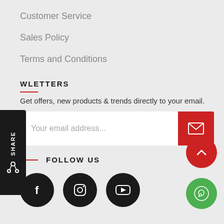Customer Service
Sales Policy
Terms and Conditions
NEWSLETTERS
Get offers, new products & trends directly to your email.
Your email address...
FOLLOW US
[Figure (infographic): Social media icons: Facebook, Instagram, YouTube]